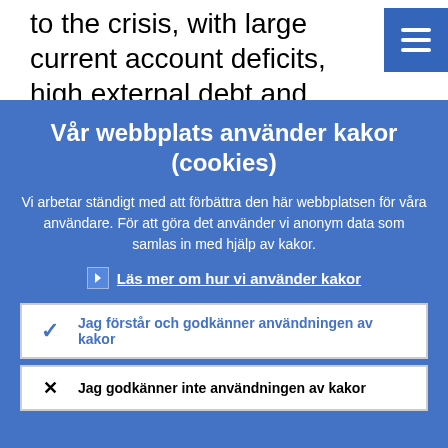to the crisis, with large current account deficits, high external debt and highly leveraged financial sectors, in particular. [
Vår webbplats använder kakor (cookies)
Vi arbetar ständigt med att förbättra den här webbplatsen för våra användare. För att göra det använder vi anonym data som samlas in med hjälp av kakor.
Läs mer om hur vi använder kakor
Jag förstår och godkänner användningen av kakor
Jag godkänner inte användningen av kakor